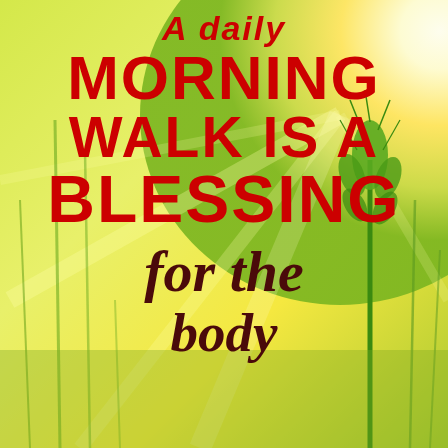[Figure (illustration): Golden sunrise over green wheat field background with wheat stalks visible on the right side. Warm yellow-green gradient with light rays emanating from upper right.]
A daily MORNING WALK IS A BLESSING for the body